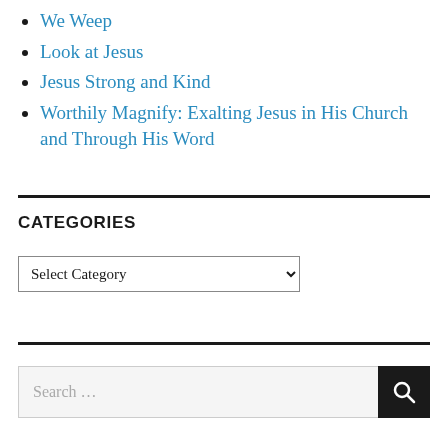We Weep
Look at Jesus
Jesus Strong and Kind
Worthily Magnify: Exalting Jesus in His Church and Through His Word
CATEGORIES
Select Category (dropdown)
Search ...